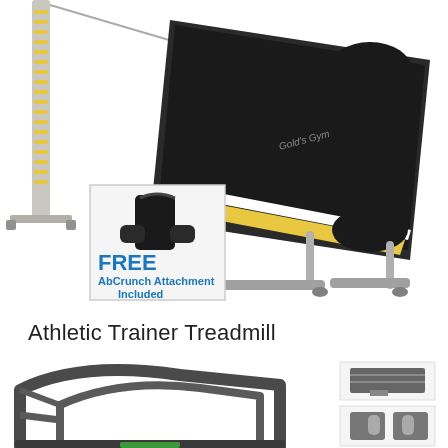[Figure (photo): A Gold's Gym exercise bench shown at an angle with a FREE AbCrunch Attachment Included inset image in the lower left corner. The bench has a black padded surface with gold/yellow stripe accents and silver frame.]
Athletic Trainer Treadmill
[Figure (photo): Bottom portion of the page showing a dark grey athletic treadmill frame/structure in the lower left and two smaller images of treadmill accessories/attachments on the right side.]